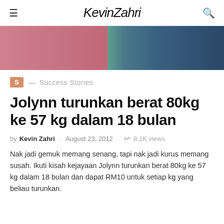KevinZahri
[Figure (photo): Hero image showing two people wearing colorful clothing — one in pink/rose on the left and one in blue plaid/checkered on the right]
S — Success Stories
Jolynn turunkan berat 80kg ke 57 kg dalam 18 bulan
by Kevin Zahri · August 23, 2012 · 8.1K views
Nak jadi gemuk memang senang, tapi nak jadi kurus memang susah. Ikuti kisah kejayaan Jolynn turunkan berat 80kg ke 57 kg dalam 18 bulan dan dapat RM10 untuk setiap kg yang beliau turunkan.